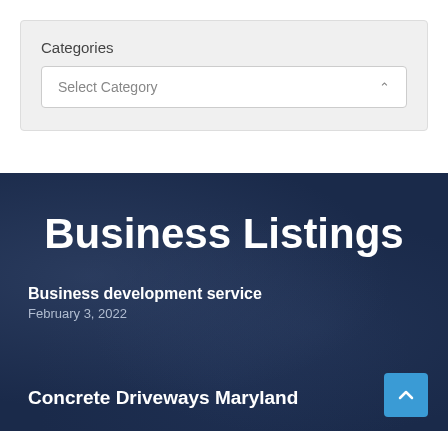Categories
Select Category
Business Listings
Business development service
February 3, 2022
Concrete Driveways Maryland